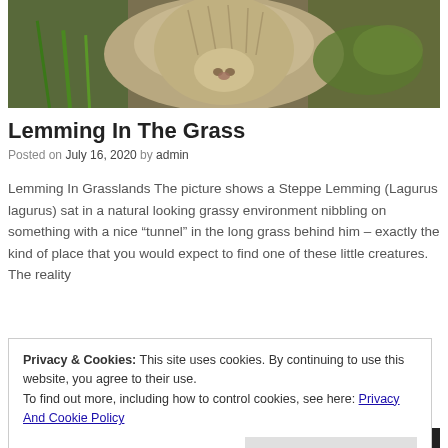[Figure (photo): Close-up photo of a Steppe Lemming (Lagurus lagurus) in grassy environment with moss]
Lemming In The Grass
Posted on July 16, 2020 by admin
Lemming In Grasslands The picture shows a Steppe Lemming (Lagurus lagurus) sat in a natural looking grassy environment nibbling on something with a nice “tunnel” in the long grass behind him – exactly the kind of place that you would expect to find one of these little creatures. The reality
Privacy & Cookies: This site uses cookies. By continuing to use this website, you agree to their use.
To find out more, including how to control cookies, see here: Privacy And Cookie Policy
Close and accept